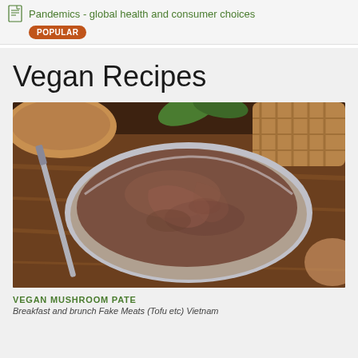Pandemics - global health and consumer choices
POPULAR
Vegan Recipes
[Figure (photo): A bowl of vegan mushroom pate in a silver/tin bowl, served on a wooden board with a knife beside it. Background shows other bowls and a woven basket.]
VEGAN MUSHROOM PATE
Breakfast and brunch Fake Meats (Tofu etc) Vietnam